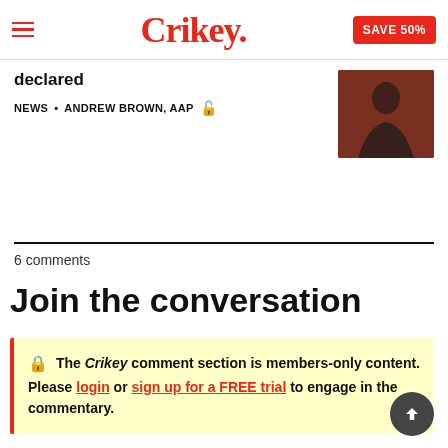Crikey. SAVE 50%
declared
NEWS • ANDREW BROWN, AAP 🔓
[Figure (photo): Thumbnail photo of a person in dark clothing seated against a reddish background]
6 comments
Join the conversation
🔒 The Crikey comment section is members-only content. Please login or sign up for a FREE trial to engage in the commentary.